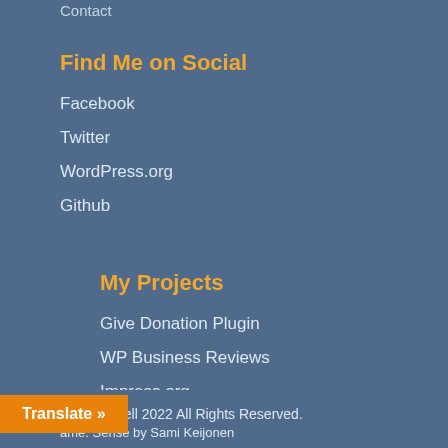Contact
Find Me on Social
Facebook
Twitter
WordPress.org
Github
My Projects
Give Donation Plugin
WP Business Reviews
Impress.org
att Cromwell 2022 All Rights Reserved.
ame: Sense by Sami Keijonen